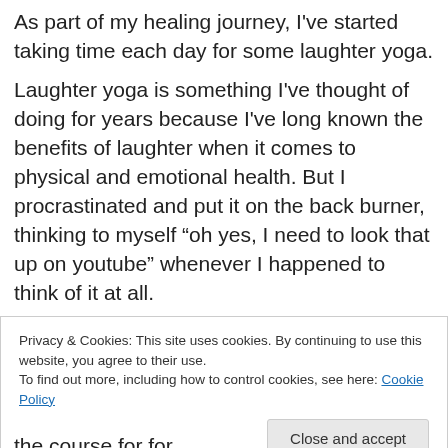As part of my healing journey, I've started taking time each day for some laughter yoga.
Laughter yoga is something I've thought of doing for years because I've long known the benefits of laughter when it comes to physical and emotional health. But I procrastinated and put it on the back burner, thinking to myself “oh yes, I need to look that up on youtube” whenever I happened to think of it at all.
Privacy & Cookies: This site uses cookies. By continuing to use this website, you agree to their use.
To find out more, including how to control cookies, see here: Cookie Policy
the course for for...